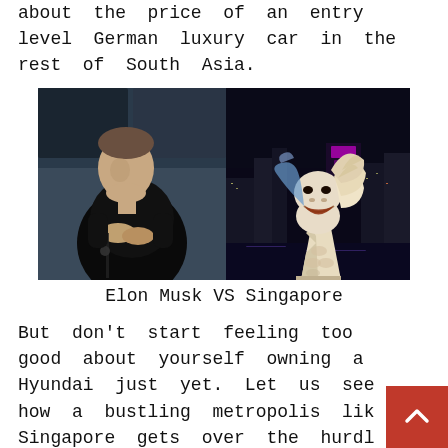about the price of an entry level German luxury car in the rest of South Asia.
[Figure (photo): Split image: left side shows Elon Musk sitting with hands clasped, wearing a black shirt, with a dark background. Right side shows the Singapore Merlion statue lit up at night with city skyline behind it.]
Elon Musk VS Singapore
But don't start feeling too good about yourself owning a Hyundai just yet. Let us see how a bustling metropolis like Singapore gets over the hurdle of transportation. The answer